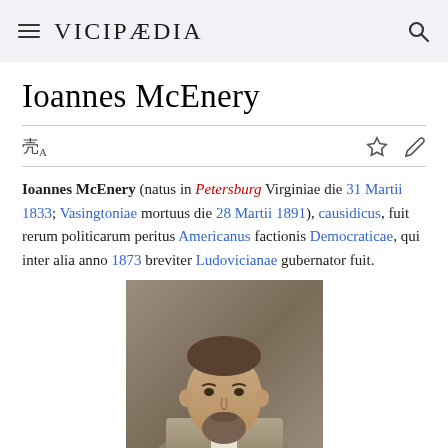VICIPÆDIA
Ioannes McEnery
Ioannes McEnery (natus in Petersburg Virginiae die 31 Martii 1833; Vasingtoniae mortuus die 28 Martii 1891), causidicus, fuit rerum politicarum peritus Americanus factionis Democraticae, qui inter alia anno 1873 breviter Ludovicianae gubernator fuit.
[Figure (photo): Portrait painting of Ioannes McEnery, a man with a beard wearing a suit and bow tie]